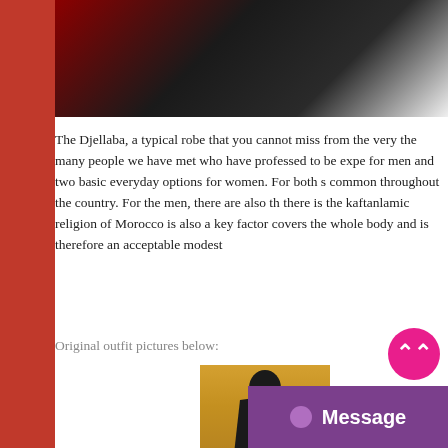[Figure (photo): Top portion of a dark/black image with red tones on left, partial view of an object on dark background]
The Djellaba, a typical robe that you cannot miss from the very the many people we have met who have professed to be expe for men and two basic everyday options for women. For both s common throughout the country. For the men, there are also th there is the kaftanlamic religion of Morocco is also a key factor covers the whole body and is therefore an acceptable modest
Original outfit pictures below:
[Figure (photo): A person wearing a dark striped hooded djellaba robe, standing in profile against an orange/warm background]
Message